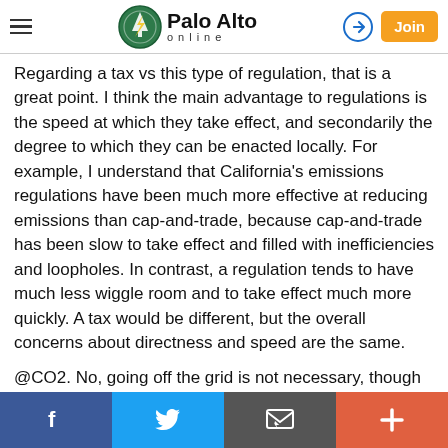Palo Alto online
Regarding a tax vs this type of regulation, that is a great point. I think the main advantage to regulations is the speed at which they take effect, and secondarily the degree to which they can be enacted locally. For example, I understand that California's emissions regulations have been much more effective at reducing emissions than cap-and-trade, because cap-and-trade has been slow to take effect and filled with inefficiencies and loopholes. In contrast, a regulation tends to have much less wiggle room and to take effect much more quickly. A tax would be different, but the overall concerns about directness and speed are the same.
@CO2. No, going off the grid is not necessary, though cleaning up the grid is. In previous posts, you have suggested we all need to live like the Amish. Here you
Facebook | Twitter | Email | More